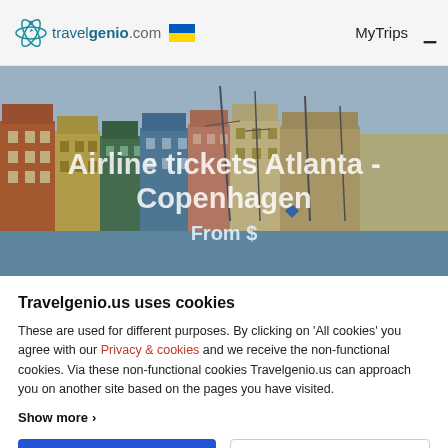travelgenio.com  MyTrips ☰
[Figure (photo): Colorful waterfront buildings in Copenhagen (Nyhavn) with sailboat masts in background, used as hero banner image]
Airline tickets Atlanta - Copenhagen
From $
Travelgenio.us uses cookies
These are used for different purposes. By clicking on 'All cookies' you agree with our Privacy & cookies and we receive the non-functional cookies. Via these non-functional cookies Travelgenio.us can approach you on another site based on the pages you have visited.
Show more ›
All cookies
Necessary cookies